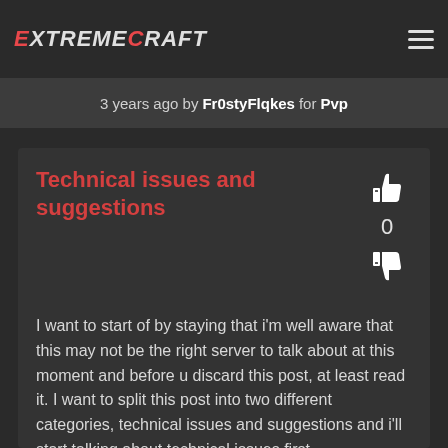ExtremeCraft
3 years ago by Fr0styFlqkes for Pvp
Technical issues and suggestions
I want to start of by staying that i'm well aware that this may not be the right server to talk about at this moment and before u discard this post, at least read it. I want to split this post into two different categories, technical issues and suggestions and i'll start talking about technical issues first.
The amount of technical issues pvp server has at this moment is enormous. The.. See